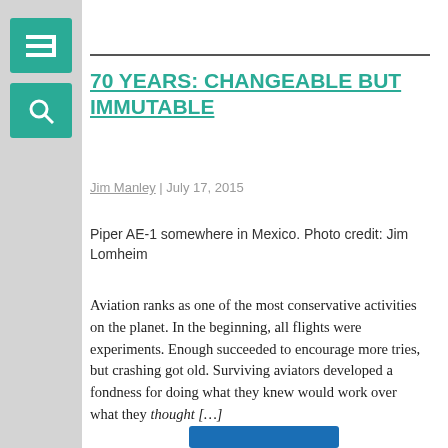70 YEARS: CHANGEABLE BUT IMMUTABLE
Jim Manley | July 17, 2015
Piper AE-1 somewhere in Mexico. Photo credit: Jim Lomheim
Aviation ranks as one of the most conservative activities on the planet. In the beginning, all flights were experiments. Enough succeeded to encourage more tries, but crashing got old. Surviving aviators developed a fondness for doing what they knew would work over what they thought […]